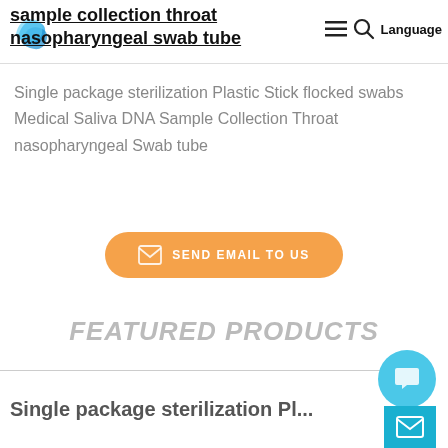sample collection throat nasopharyngeal swab tube
Single package sterilization Plastic Stick flocked swabs Medical Saliva DNA Sample Collection Throat nasopharyngeal Swab tube
[Figure (other): Orange rounded button with mail icon and text SEND EMAIL TO US]
FEATURED PRODUCTS
Single package sterilization Pl...